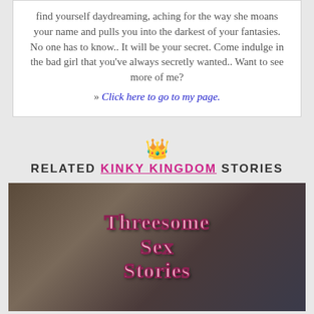find yourself daydreaming, aching for the way she moans your name and pulls you into the darkest of your fantasies. No one has to know.. It will be your secret. Come indulge in the bad girl that you've always secretly wanted.. Want to see more of me?
» Click here to go to my page.
RELATED KINKY KINGDOM STORIES
[Figure (photo): Photo with text overlay reading 'Threesome Sex Stories' in pink gothic font]